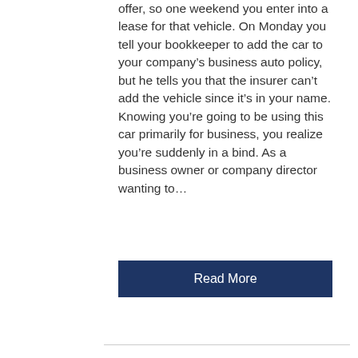offer, so one weekend you enter into a lease for that vehicle. On Monday you tell your bookkeeper to add the car to your company's business auto policy, but he tells you that the insurer can't add the vehicle since it's in your name. Knowing you're going to be using this car primarily for business, you realize you're suddenly in a bind. As a business owner or company director wanting to...
Read More